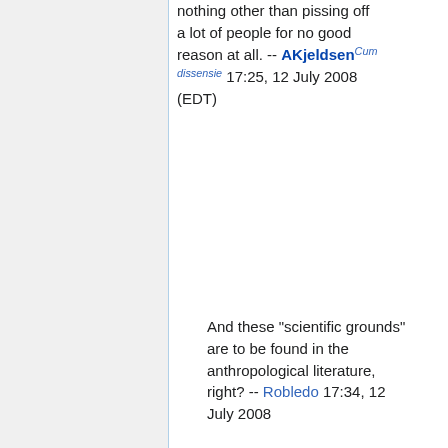nothing other than pissing off a lot of people for no good reason at all. -- AKjeldsen Cum dissensie 17:25, 12 July 2008 (EDT)
And these "scientific grounds" are to be found in the anthropological literature, right? -- Robledo 17:34, 12 July 2008